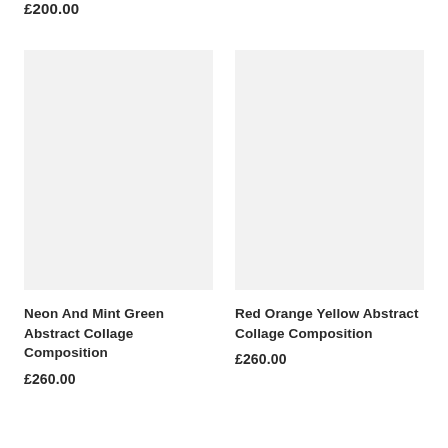£200.00
[Figure (photo): Light grey placeholder image for Neon And Mint Green Abstract Collage Composition artwork]
Neon And Mint Green Abstract Collage Composition
£260.00
[Figure (photo): Light grey placeholder image for Red Orange Yellow Abstract Collage Composition artwork]
Red Orange Yellow Abstract Collage Composition
£260.00